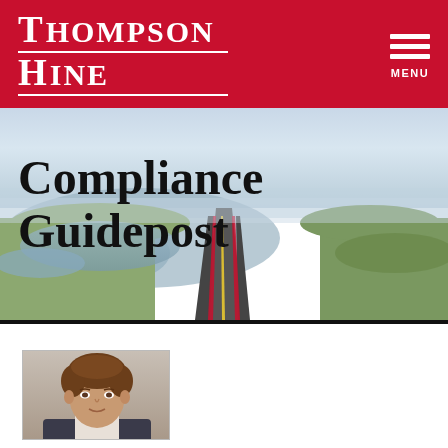Thompson Hine — MENU
Compliance Guidepost
[Figure (photo): Aerial view of a long straight highway stretching into the distance, flanked by green wetlands and water, under a hazy sky]
[Figure (photo): Headshot portrait of a man with brown hair wearing a suit, shown from shoulders up in a bordered photo frame]